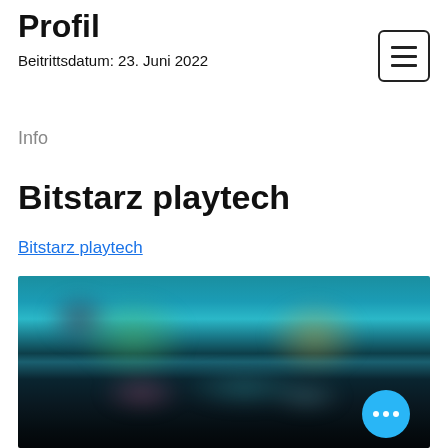Profil
Beitrittsdatum: 23. Juni 2022
Info
Bitstarz playtech
Bitstarz playtech
[Figure (screenshot): Blurred screenshot of a gaming/casino website showing game thumbnails with colorful characters and game tiles arranged in a grid layout. A blue circular FAB button with three dots (ellipsis) is visible in the bottom-right corner.]